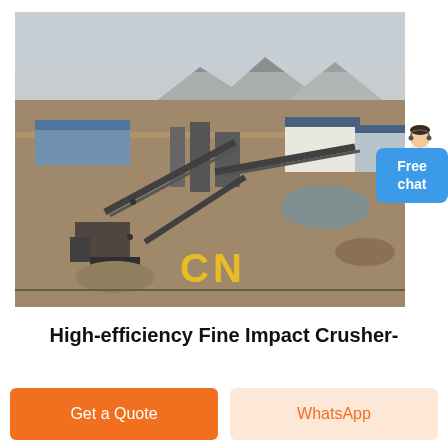[Figure (photo): Aerial view of an industrial stone crushing plant / quarry facility with conveyor belts, processing equipment, factory buildings, and 'CN' watermark text in yellow at the bottom center. Mountains visible in background.]
High-efficiency Fine Impact Crusher-
Get a Quote
WhatsApp